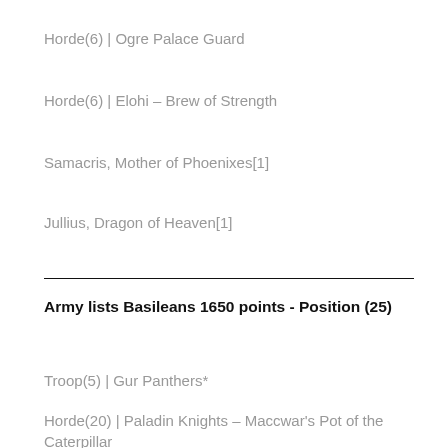Horde(6) | Ogre Palace Guard
Horde(6) | Elohi – Brew of Strength
Samacris, Mother of Phoenixes[1]
Jullius, Dragon of Heaven[1]
Army lists Basileans 1650 points - Position (25)
Troop(5) | Gur Panthers*
Horde(20) | Paladin Knights – Maccwar's Pot of the Caterpillar